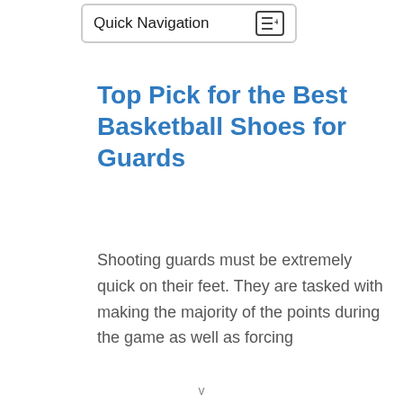Quick Navigation
Top Pick for the Best Basketball Shoes for Guards
Shooting guards must be extremely quick on their feet. They are tasked with making the majority of the points during the game as well as forcing
v